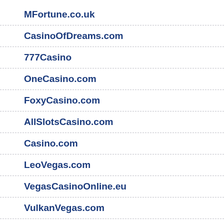MFortune.co.uk
CasinoOfDreams.com
777Casino
OneCasino.com
FoxyCasino.com
AllSlotsCasino.com
Casino.com
LeoVegas.com
VegasCasinoOnline.eu
VulkanVegas.com
OzwinCasino.com